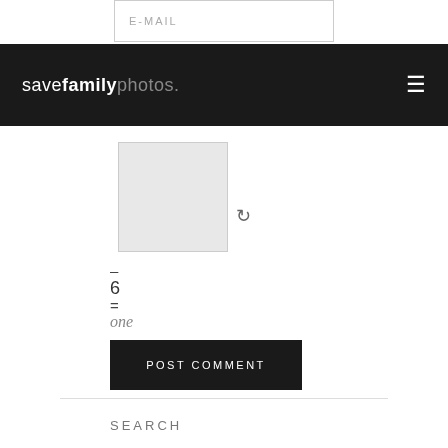E-MAIL
savefamilyphotos.
[Figure (other): CAPTCHA image placeholder — grey square with refresh icon]
– 6 = one
POST COMMENT
SEARCH